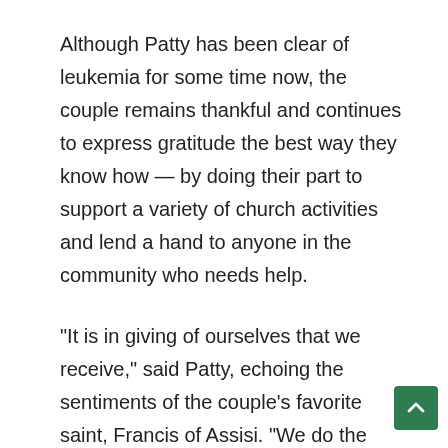Although Patty has been clear of leukemia for some time now, the couple remains thankful and continues to express gratitude the best way they know how — by doing their part to support a variety of church activities and lend a hand to anyone in the community who needs help.
“It is in giving of ourselves that we receive,” said Patty, echoing the sentiments of the couple’s favorite saint, Francis of Assisi. “We do the things we do here at church because that’s just who we are. We want to help people like others have helped us.